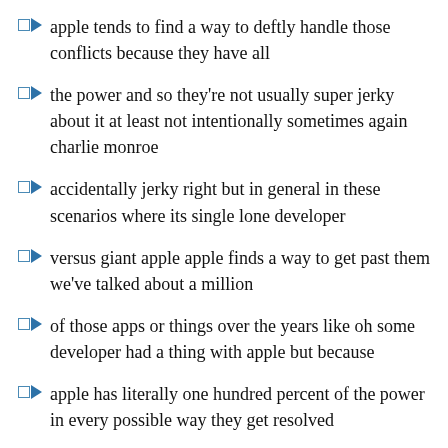apple tends to find a way to deftly handle those conflicts because they have all
the power and so they're not usually super jerky about it at least not intentionally sometimes again charlie monroe
accidentally jerky right but in general in these scenarios where its single lone developer
versus giant apple apple finds a way to get past them we've talked about a million
of those apps or things over the years like oh some developer had a thing with apple but because
apple has literally one hundred percent of the power in every possible way they get resolved
and we move on because apple essentially just runs you over right you can fly or you go